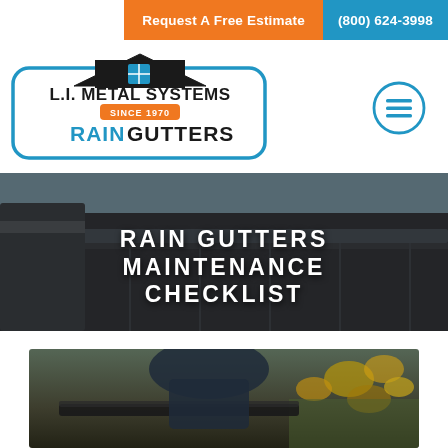Request A Free Estimate | (800) 624-3998
[Figure (logo): L.I. Metal Systems Rain Gutters logo with house/roof icon, Since 1970 badge, blue border]
[Figure (illustration): Hamburger/menu icon circle with three horizontal lines, blue outline]
RAIN GUTTERS MAINTENANCE CHECKLIST
[Figure (photo): Person working on rain gutters, autumn leaves visible in background]